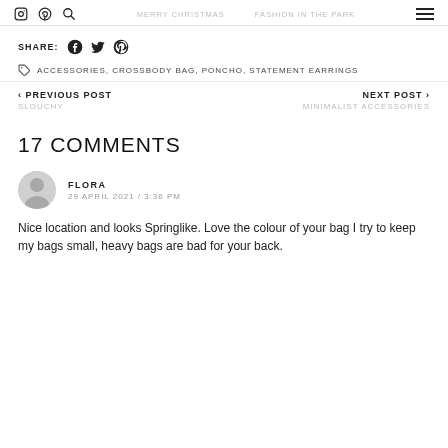MERRY CHRISTMAS   FASHION IN THE PARK
SHARE
ACCESSORIES, CROSSBODY BAG, PONCHO, STATEMENT EARRINGS
< PREVIOUS POST
SLOUCHY
NEXT POST >
MINIMALIST ACCESSORIES
17 COMMENTS
FLORA
29 APRIL 2021 / 3:36 PM
Nice location and looks Springlike. Love the colour of your bag I try to keep my bags small, heavy bags are bad for your back.